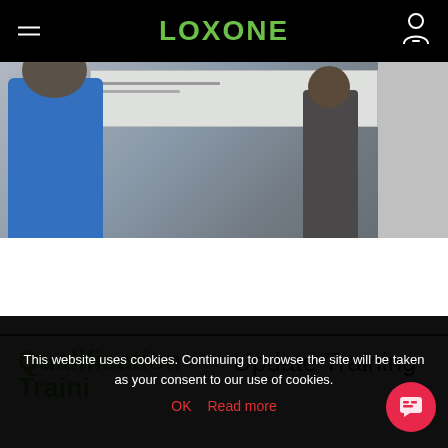LOXONE
[Figure (photo): Training session photo showing two people in a classroom or training room setting, one wearing a blue jacket, with a whiteboard visible in the background.]
Qualification Training
Update Training
This website uses cookies. Continuing to browse the site will be taken as your consent to our use of cookies.
OK  Read more